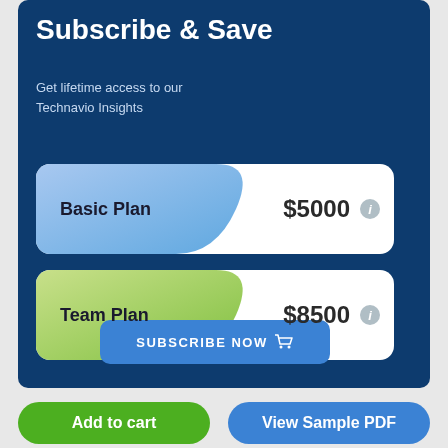Subscribe & Save
Get lifetime access to our Technavio Insights
Basic Plan  $5000
Team Plan  $8500
SUBSCRIBE NOW
Add to cart
View Sample PDF